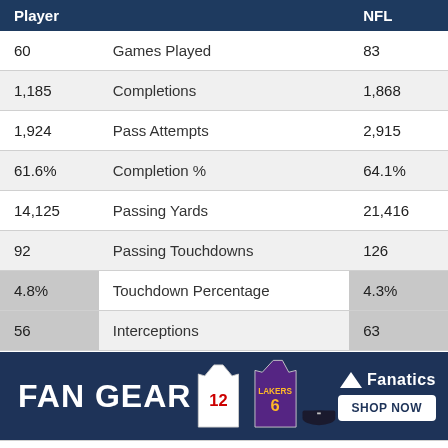| Player | Stat | NFL |
| --- | --- | --- |
| 60 | Games Played | 83 |
| 1,185 | Completions | 1,868 |
| 1,924 | Pass Attempts | 2,915 |
| 61.6% | Completion % | 64.1% |
| 14,125 | Passing Yards | 21,416 |
| 92 | Passing Touchdowns | 126 |
| 4.8% | Touchdown Percentage | 4.3% |
| 56 | Interceptions | 63 |
| 2.9% | Interception Percentage | 2.2% |
| 89 | Longest Pass | 94 |
| 7.0 | Adjusted Yards Per Pass Attempt | 7.2 |
[Figure (infographic): FAN GEAR advertisement banner with Fanatics logo, sports jerseys, and SHOP NOW button]